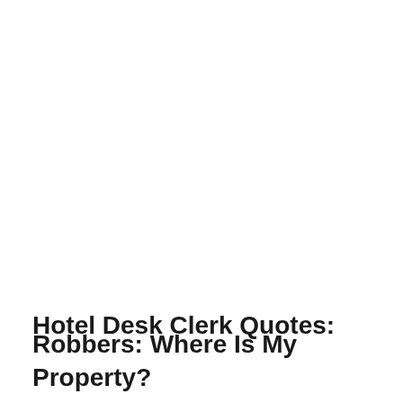Hotel Desk Clerk Quotes:
Robbers: Where Is My Property?